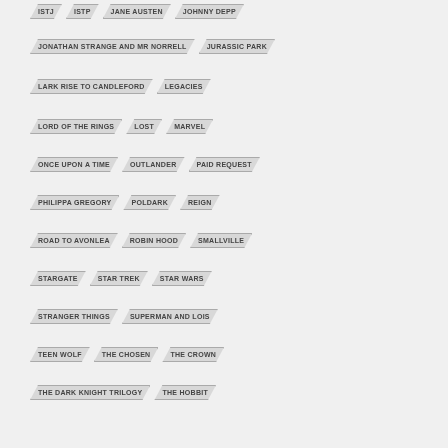ISTJ
ISTP
JANE AUSTEN
JOHNNY DEPP
JONATHAN STRANGE AND MR NORRELL
JURASSIC PARK
LARK RISE TO CANDLEFORD
LEGACIES
LORD OF THE RINGS
LOST
MARVEL
ONCE UPON A TIME
OUTLANDER
PAID REQUEST
PHILIPPA GREGORY
POLDARK
REIGN
ROAD TO AVONLEA
ROBIN HOOD
SMALLVILLE
STARGATE
STAR TREK
STAR WARS
STRANGER THINGS
SUPERMAN AND LOIS
TEEN WOLF
THE CHOSEN
THE CROWN
THE DARK KNIGHT TRILOGY
THE HOBBIT